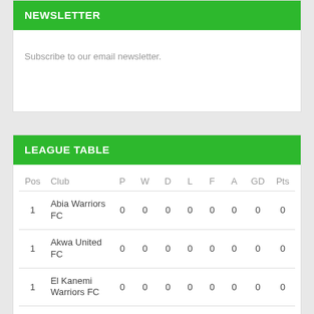NEWSLETTER
Subscribe to our email newsletter.
LEAGUE TABLE
| Pos | Club | P | W | D | L | F | A | GD | Pts |
| --- | --- | --- | --- | --- | --- | --- | --- | --- | --- |
| 1 | Abia Warriors FC | 0 | 0 | 0 | 0 | 0 | 0 | 0 | 0 |
| 1 | Akwa United FC | 0 | 0 | 0 | 0 | 0 | 0 | 0 | 0 |
| 1 | El Kanemi Warriors FC | 0 | 0 | 0 | 0 | 0 | 0 | 0 | 0 |
| 1 | Enyimba FC | 0 | 0 | 0 | 0 | 0 | 0 | 0 | 0 |